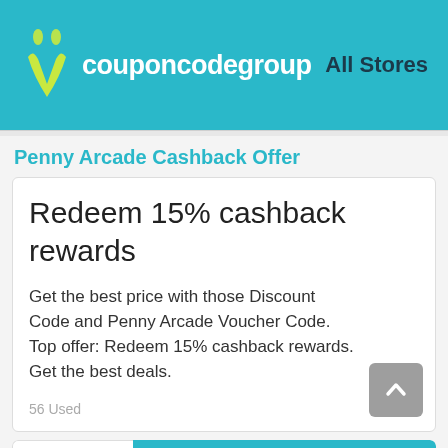[Figure (logo): CouponCodeGroup logo with teal background, showing a stylized person icon in green/yellow and the site name in white text]
All Stores
Penny Arcade Cashback Offer
Redeem 15% cashback rewards
Get the best price with those Discount Code and Penny Arcade Voucher Code. Top offer: Redeem 15% cashback rewards. Get the best deals.
56 Used
15%Off
Get Deal